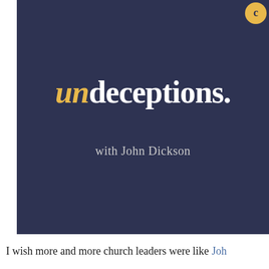[Figure (illustration): Podcast cover art with dark navy background showing 'undeceptions.' as the title with 'un' in gold italic and 'deceptions.' in white, plus 'with John Dickson' subtitle, and a small circular logo in the top right corner]
I wish more and more church leaders were like Joh...